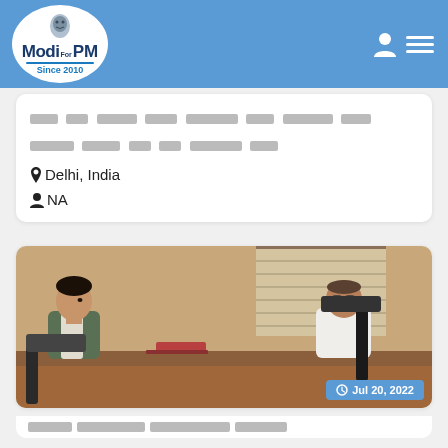Modi For PM - Since 2010
[Hindi text redacted] Delhi, India  NA
[Figure (photo): Two men sitting across a desk in an office meeting setting. One man in a grey and white jacket on the left, another man in white shirt on the right seated at an executive chair. Office with window and blinds in background. Date badge: Jul 20, 2022]
[Hindi text redacted]